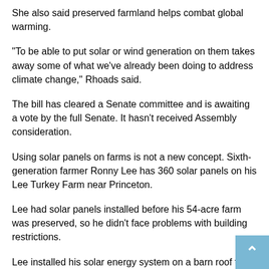She also said preserved farmland helps combat global warming.
"To be able to put solar or wind generation on them takes away some of what we've already been doing to address climate change," Rhoads said.
The bill has cleared a Senate committee and is awaiting a vote by the full Senate. It hasn't received Assembly consideration.
Using solar panels on farms is not a new concept. Sixth-generation farmer Ronny Lee has 360 solar panels on his Lee Turkey Farm near Princeton.
Lee had solar panels installed before his 54-acre farm was preserved, so he didn't face problems with building restrictions.
Lee installed his solar energy system on a barn roof that faces south, where it captures the most sunlight and shades the roof.